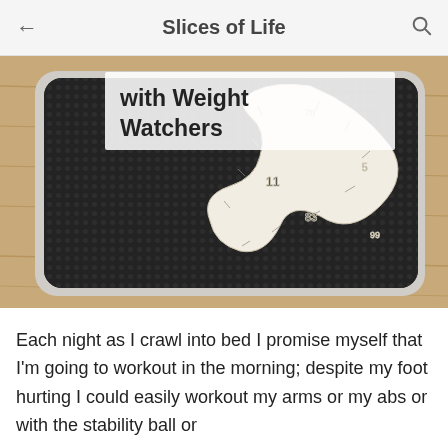Slices of Life
[Figure (photo): A bathroom weighing scale with a coiled measuring tape placed on top of it, sitting on a wooden surface. Partial text overlay reads 'With Weight Watchers'.]
Each night as I crawl into bed I promise myself that I'm going to workout in the morning; despite my foot hurting I could easily workout my arms or my abs or with the stability ball or